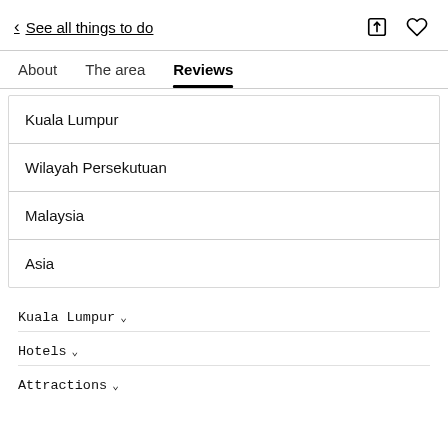< See all things to do
About   The area   Reviews
Kuala Lumpur
Wilayah Persekutuan
Malaysia
Asia
Kuala Lumpur ˅
Hotels ˅
Attractions ˅